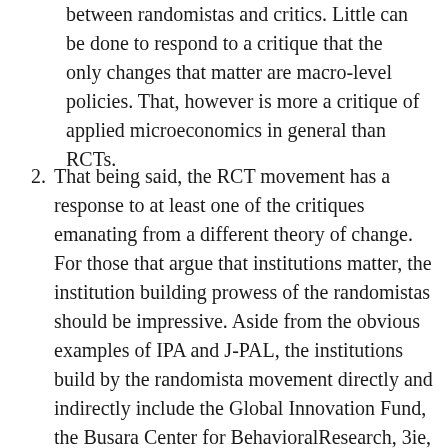between randomistas and critics. Little can be done to respond to a critique that the only changes that matter are macro-level policies. That, however is more a critique of applied microeconomics in general than RCTs.
That being said, the RCT movement has a response to at least one of the critiques emanating from a different theory of change. For those that argue that institutions matter, the institution building prowess of the randomistas should be impressive. Aside from the obvious examples of IPA and J-PAL, the institutions build by the randomista movement directly and indirectly include the Global Innovation Fund, the Busara Center for BehavioralResearch, 3ie, Evidence Action, Development Impact Ventures, AEJ: Applied, and